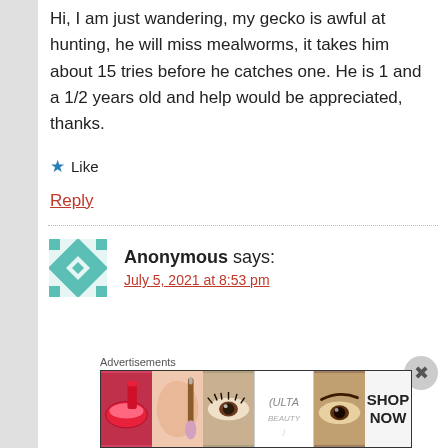Hi, I am just wandering, my gecko is awful at hunting, he will miss mealworms, it takes him about 15 tries before he catches one. He is 1 and a 1/2 years old and help would be appreciated, thanks.
★ Like
Reply
Anonymous says:
July 5, 2021 at 8:53 pm
[Figure (illustration): Geometric quilt-pattern avatar in teal and white]
Advertisements
[Figure (photo): Ulta Beauty advertisement banner showing makeup/cosmetics imagery with SHOP NOW call to action]